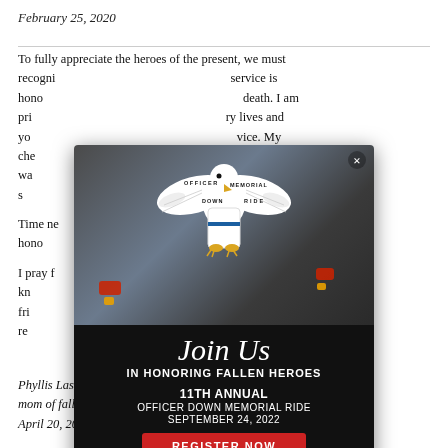February 25, 2020
To fully appreciate the heroes of the present, we must recognize the heroes of the past. Your loved one's service is honored, their sacrifice recognized, even in death. I am privileged to ride in memory of the officers who ry lives and yo [obscured by modal] vice. My che [obscured] officer who wa [obscured] 005 while s [obscured]
Time ne [obscured] ways be hono [obscured]
I pray f [obscured] er you for I kn [obscured] ks to your fri [obscured] gh their re [obscured]
[Figure (infographic): Officer Down Memorial Ride modal popup overlay. Contains eagle logo with 'OFFICER DOWN MEMORIAL RIDE' text, background photo of motorcycles, and event details: Join Us In Honoring Fallen Heroes, 11th Annual Officer Down Memorial Ride, September 24, 2022, Register Now button.]
Phyllis Lasater Loya
mom of fallen Pittsburg (CA) officer Larry Lasater
April 20, 2013